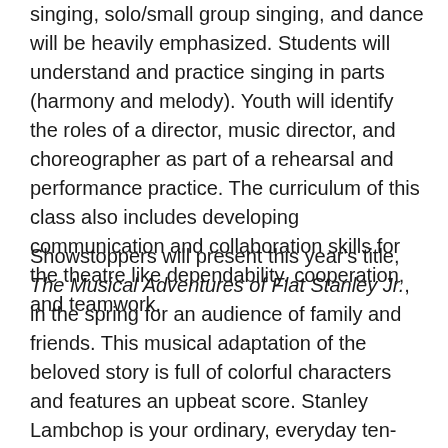singing, solo/small group singing, and dance will be heavily emphasized. Students will understand and practice singing in parts (harmony and melody). Youth will identify the roles of a director, music director, and choreographer as part of a rehearsal and performance practice. The curriculum of this class also includes developing communication and collaboration skills for the theatre like dependability, cooperation, and teamwork.
Showstoppers will present this year's title, The Musical Adventures of Flat Stanley Jr., in the spring for an audience of family and friends. This musical adaptation of the beloved story is full of colorful characters and features an upbeat score. Stanley Lambchop is your ordinary, everyday ten-year-old until the bulletin board on the wall above his bed comes loose and falls right on top of him. The next morning, Stanley wakes up flat. In a whirlwind musical travelogue, Stanley scours the globe for a solution to his unusual problem. He's stamped, posted and sent from Hollywood and Europe to Hawaii, and he meets all his